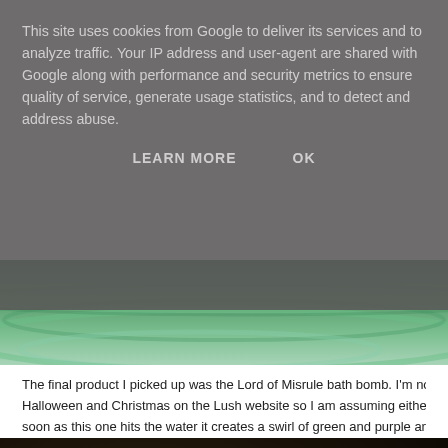This site uses cookies from Google to deliver its services and to analyze traffic. Your IP address and user-agent are shared with Google along with performance and security metrics to ensure quality of service, generate usage statistics, and to detect and address abuse.
LEARN MORE    OK
[Figure (photo): Close-up photo of green glass or plant material with swirling green tones]
The final product I picked up was the Lord of Misrule bath bomb. I'm not even sure if th Halloween and Christmas on the Lush website so I am assuming either way it's a limite soon as this one hits the water it creates a swirl of green and purple and looks AMA
[Figure (photo): Dark background with a large orange pumpkin and green leaves, Halloween themed photo]